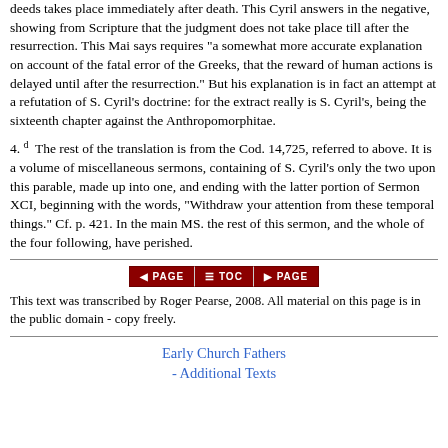deeds takes place immediately after death. This Cyril answers in the negative, showing from Scripture that the judgment does not take place till after the resurrection. This Mai says requires "a somewhat more accurate explanation on account of the fatal error of the Greeks, that the reward of human actions is delayed until after the resurrection." But his explanation is in fact an attempt at a refutation of S. Cyril's doctrine: for the extract really is S. Cyril's, being the sixteenth chapter against the Anthropomorphitae.
4. d The rest of the translation is from the Cod. 14,725, referred to above. It is a volume of miscellaneous sermons, containing of S. Cyril's only the two upon this parable, made up into one, and ending with the latter portion of Sermon XCI, beginning with the words, "Withdraw your attention from these temporal things." Cf. p. 421. In the main MS. the rest of this sermon, and the whole of the four following, have perished.
[Figure (other): Navigation bar with three buttons: left PAGE arrow, TOC (table of contents), right PAGE arrow, styled in dark red with white text]
This text was transcribed by Roger Pearse, 2008. All material on this page is in the public domain - copy freely.
Early Church Fathers - Additional Texts